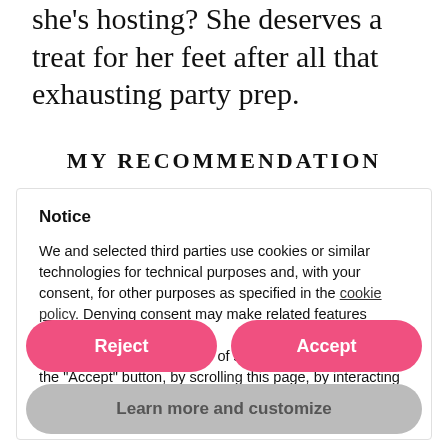she's hosting? She deserves a treat for her feet after all that exhausting party prep.
MY RECOMMENDATION
Notice
We and selected third parties use cookies or similar technologies for technical purposes and, with your consent, for other purposes as specified in the cookie policy. Denying consent may make related features unavailable.
You can consent to the use of such technologies by using the "Accept" button, by scrolling this page, by interacting with any link or button outside of this notice or by continuing to browse otherwise.
Reject
Accept
Learn more and customize